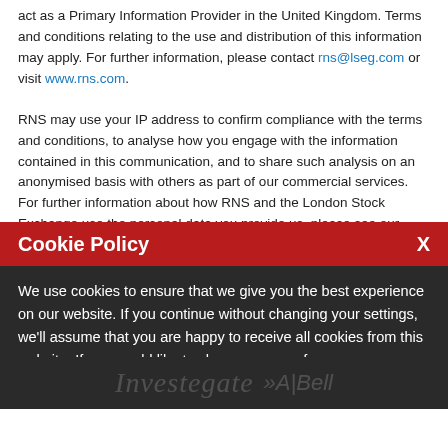act as a Primary Information Provider in the United Kingdom. Terms and conditions relating to the use and distribution of this information may apply. For further information, please contact rns@lseg.com or visit www.rns.com.
RNS may use your IP address to confirm compliance with the terms and conditions, to analyse how you engage with the information contained in this communication, and to share such analysis on an anonymised basis with others as part of our commercial services. For further information about how RNS and the London Stock Exchange use the personal data you provide us, please see our Privacy Policy.
Cookie Policy
We use cookies to ensure that we give you the best experience on our website. If you continue without changing your settings, we'll assume that you are happy to receive all cookies from this website. If you would like to change your preferences you may do so by following the instructions here.